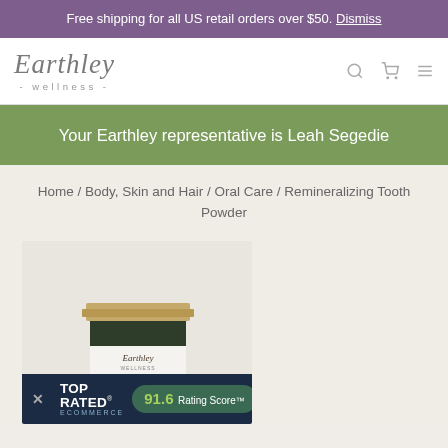Free shipping for all US retail orders over $50. Dismiss
[Figure (logo): Earthley Wellness logo in cursive script with '- wellness -' subtitle]
Your Earthley representative is Leah Segedie
Home / Body, Skin and Hair / Oral Care / Remineralizing Tooth Powder
[Figure (photo): Earthley Remineralizing Tooth Powder product in a small box with dark green botanical print packaging and a kraft paper lid, mint variety]
× TOP RATED ECOMMERCE 91.6 Rating Score™